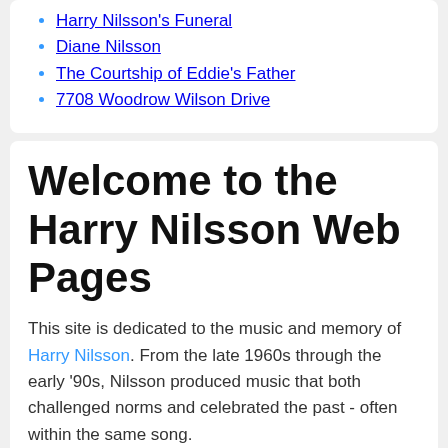Harry Nilsson's Funeral
Diane Nilsson
The Courtship of Eddie's Father
7708 Woodrow Wilson Drive
Welcome to the Harry Nilsson Web Pages
This site is dedicated to the music and memory of Harry Nilsson. From the late 1960s through the early '90s, Nilsson produced music that both challenged norms and celebrated the past - often within the same song.
On first listen, his early Pandemonium Shadow Show is just an appealing collection